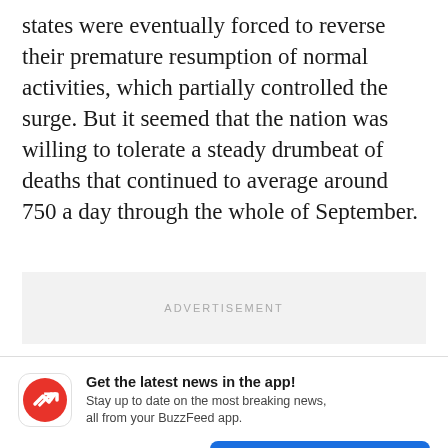states were eventually forced to reverse their premature resumption of normal activities, which partially controlled the surge. But it seemed that the nation was willing to tolerate a steady drumbeat of deaths that continued to average around 750 a day through the whole of September.
ADVERTISEMENT
[Figure (infographic): BuzzFeed app notification prompt with red circular BuzzFeed logo icon, bold headline 'Get the latest news in the app!', subtext 'Stay up to date on the most breaking news, all from your BuzzFeed app.', a 'Maybe later' link in blue, and a blue 'Get the app' button.]